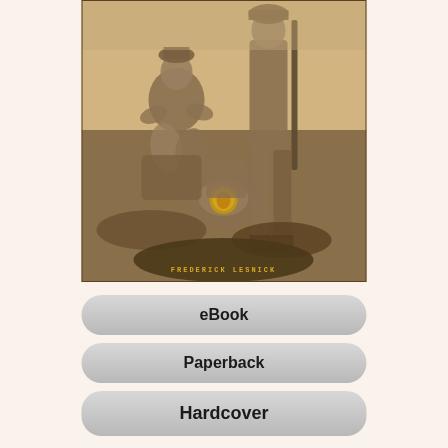[Figure (photo): Sepia-toned military photo on book cover showing two soldiers in combat gear, one seated and one standing, with military equipment and what appears to be a USMC emblem visible. Author name 'FREDERICK LESNICK' visible at bottom of cover.]
eBook
Paperback
Hardcover
This title may not be available in every edition. If nothing happens when you click on a button, then that edition is not available. Merriam Press does not sell direct and the buttons will open a